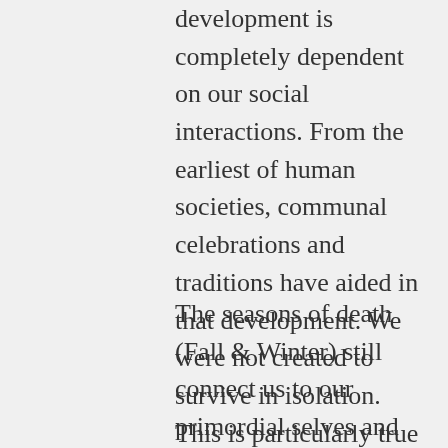development is completely dependent on our social interactions. From the earliest of human societies, communal celebrations and traditions have aided in that development. We were not created to survive in isolation. This is particularly true of our Fall and Winter traditions.
The seasons of death (Fall & Winter) still connect us to our primordial selves and we run a high risk of depression when we isolate for too long. Denying ourselves our connection to each other through our collective identity in the form of our holidays is tantamount to cutting ourselves. Go too long without any of